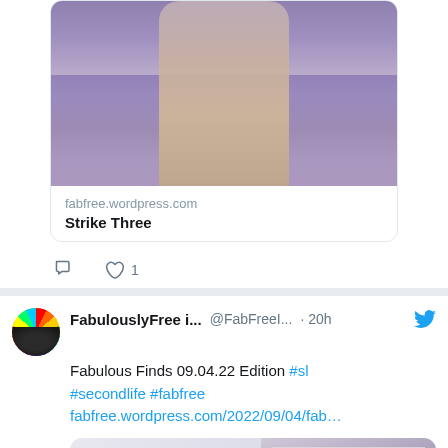[Figure (screenshot): Link preview card showing a 3D avatar in a mauve outfit at a bowling alley with purple floor]
fabfree.wordpress.com
Strike Three
[Figure (other): Tweet action icons: reply and heart with count 1]
[Figure (photo): FabulouslyFree in SL avatar profile picture — colorful spectrum circle with dark bottom]
FabulouslyFree i... @FabFreeI... · 20h
Fabulous Finds 09.04.22 Edition #sl #secondlife #fabfree fabfree.wordpress.com/2022/09/04/fab…
[Figure (photo): Image showing a GIFT manicure product on the left and dark purple manicured nails on right]